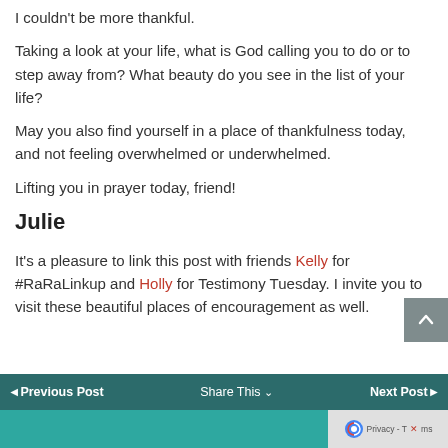I couldn't be more thankful.
Taking a look at your life, what is God calling you to do or to step away from? What beauty do you see in the list of your life?
May you also find yourself in a place of thankfulness today, and not feeling overwhelmed or underwhelmed.
Lifting you in prayer today, friend!
Julie
It's a pleasure to link this post with friends Kelly for #RaRaLinkup and Holly for Testimony Tuesday. I invite you to visit these beautiful places of encouragement as well.
◄ Previous Post   Share This ∨   Next Post ►